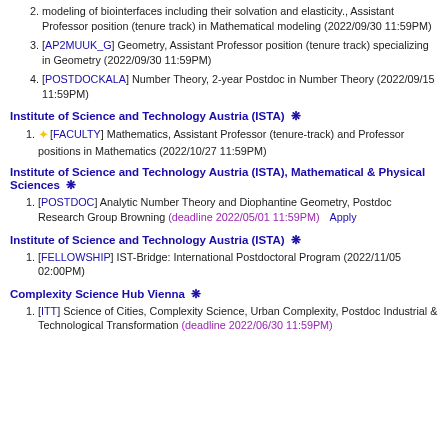modeling of biointerfaces including their solvation and elasticity., Assistant Professor position (tenure track) in Mathematical modeling (2022/09/30 11:59PM)
[AP2MUUK_G] Geometry, Assistant Professor position (tenure track) specializing in Geometry (2022/09/30 11:59PM)
[POSTDOCKALA] Number Theory, 2-year Postdoc in Number Theory (2022/09/15 11:59PM)
Institute of Science and Technology Austria (ISTA) ❄
[FACULTY] Mathematics, Assistant Professor (tenure-track) and Professor positions in Mathematics (2022/10/27 11:59PM)
Institute of Science and Technology Austria (ISTA), Mathematical & Physical Sciences ❄
[POSTDOC] Analytic Number Theory and Diophantine Geometry, Postdoc Research Group Browning (deadline 2022/05/01 11:59PM)  Apply
Institute of Science and Technology Austria (ISTA) ❄
[FELLOWSHIP] IST-Bridge: International Postdoctoral Program (2022/11/05 02:00PM)
Complexity Science Hub Vienna ❄
[ITT] Science of Cities, Complexity Science, Urban Complexity, Postdoc Industrial & Technological Transformation (deadline 2022/06/30 11:59PM)